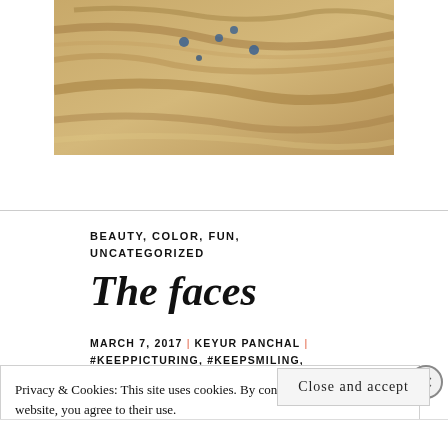[Figure (photo): Partial top image showing a textured surface in warm tan/gold tones with blue dot markings, cropped at top and bottom]
BEAUTY, COLOR, FUN, UNCATEGORIZED
The faces
MARCH 7, 2017 | KEYUR PANCHAL | #KEEPPICTURING, #KEEPSMILING, ALL MEDIUM, ART, CELEBRITY,
Privacy & Cookies: This site uses cookies. By continuing to use this website, you agree to their use. To find out more, including how to control cookies, see here: Cookie Policy
Close and accept